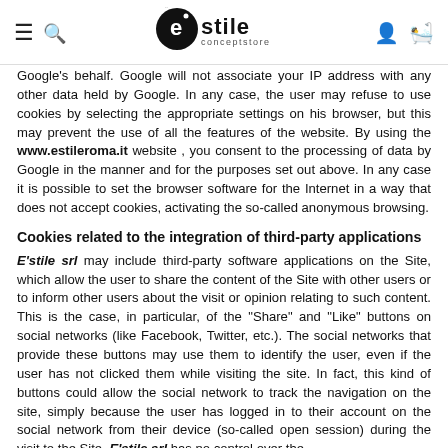E'stile conceptstore — navigation header with logo
Google's behalf. Google will not associate your IP address with any other data held by Google. In any case, the user may refuse to use cookies by selecting the appropriate settings on his browser, but this may prevent the use of all the features of the website. By using the www.estileroma.it website , you consent to the processing of data by Google in the manner and for the purposes set out above. In any case it is possible to set the browser software for the Internet in a way that does not accept cookies, activating the so-called anonymous browsing.
Cookies related to the integration of third-party applications
E'stile srl may include third-party software applications on the Site, which allow the user to share the content of the Site with other users or to inform other users about the visit or opinion relating to such content. This is the case, in particular, of the "Share" and "Like" buttons on social networks (like Facebook, Twitter, etc.). The social networks that provide these buttons may use them to identify the user, even if the user has not clicked them while visiting the site. In fact, this kind of buttons could allow the social network to track the navigation on the site, simply because the user has logged in to their account on the social network from their device (so-called open session) during the visit to the Site. E'stile srl has no control over the